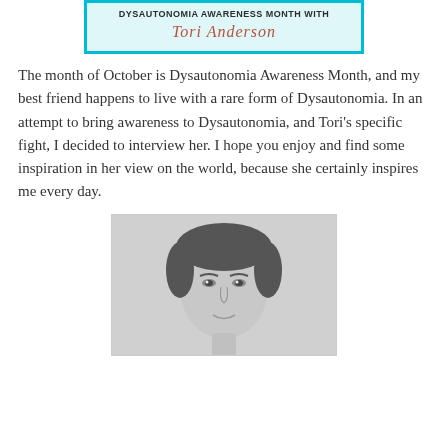[Figure (illustration): Banner image for Dysautonomia Awareness Month with Tori Anderson. Teal/cyan watercolor background with a teal border. Text reads 'Dysautonomia Awareness Month with' in bold black, and 'Tori Anderson' in cursive rose/salmon color.]
The month of October is Dysautonomia Awareness Month, and my best friend happens to live with a rare form of Dysautonomia. In an attempt to bring awareness to Dysautonomia, and Tori's specific fight, I decided to interview her. I hope you enjoy and find some inspiration in her view on the world, because she certainly inspires me every day.
[Figure (photo): Black and white portrait photograph of a young woman (Tori Anderson), face visible from forehead to chin, looking slightly to the side.]